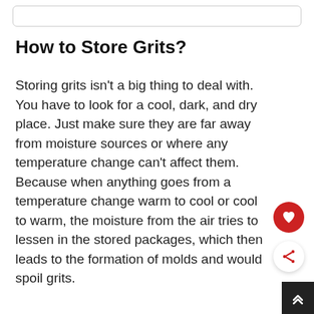How to Store Grits?
Storing grits isn't a big thing to deal with. You have to look for a cool, dark, and dry place. Just make sure they are far away from moisture sources or where any temperature change can't affect them. Because when anything goes from a temperature change warm to cool or cool to warm, the moisture from the air tries to lessen in the stored packages, which then leads to the formation of molds and would spoil grits.